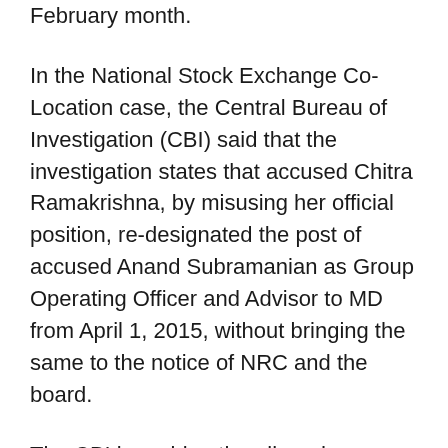February month.
In the National Stock Exchange Co-Location case, the Central Bureau of Investigation (CBI) said that the investigation states that accused Chitra Ramakrishna, by misusing her official position, re-designated the post of accused Anand Subramanian as Group Operating Officer and Advisor to MD from April 1, 2015, without bringing the same to the notice of NRC and the board.
The CBI is probing the alleged improper dissemination of information from the